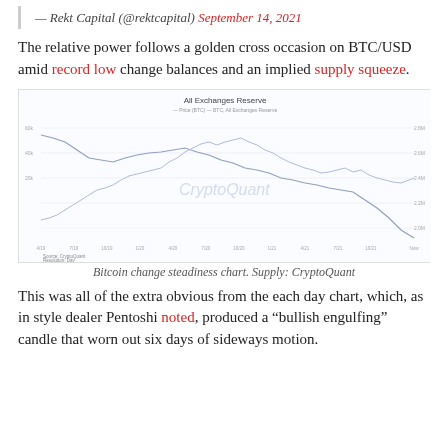— Rekt Capital (@rektcapital) September 14, 2021
The relative power follows a golden cross occasion on BTC/USD amid record low change balances and an implied supply squeeze.
[Figure (continuous-plot): Line chart showing Bitcoin all exchanges reserve over time, two lines depicting price and BTC exchange reserve trending downward at the end. Watermark: CryptoQuant. Source: CryptoQuant, Resolution: Day.]
Bitcoin change steadiness chart. Supply: CryptoQuant
This was all of the extra obvious from the each day chart, which, as in style dealer Pentoshi noted, produced a “bullish engulfing” candle that worn out six days of sideways motion.